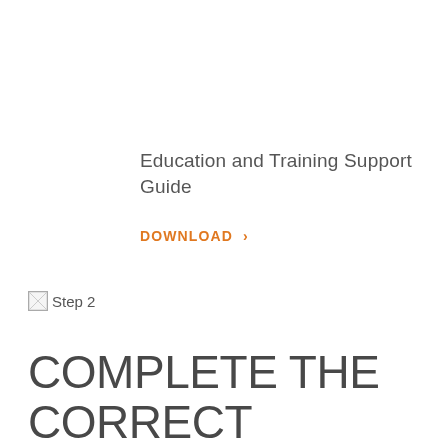Education and Training Support Guide
DOWNLOAD >
[Figure (other): Step 2 icon image (broken/loading image placeholder)]
COMPLETE THE CORRECT EDUCATION AND TRAINING PLAN